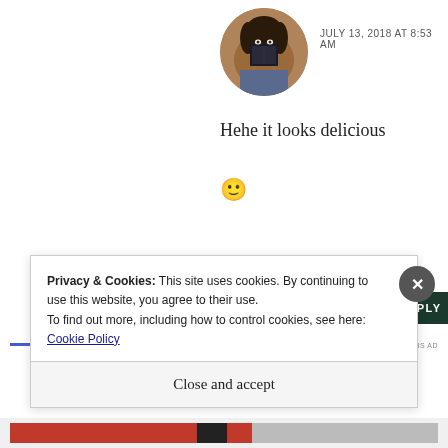[Figure (photo): Circular avatar photo of a person holding a dark book in front of their face, brown/warm tones]
JULY 13, 2018 AT 8:53 AM
Hehe it looks delicious 🙂
★ Like
REPLY
[Figure (infographic): Gradient horizontal line (blue to pink) with REPORT THIS AD label]
Privacy & Cookies: This site uses cookies. By continuing to use this website, you agree to their use.
To find out more, including how to control cookies, see here: Cookie Policy
Close and accept